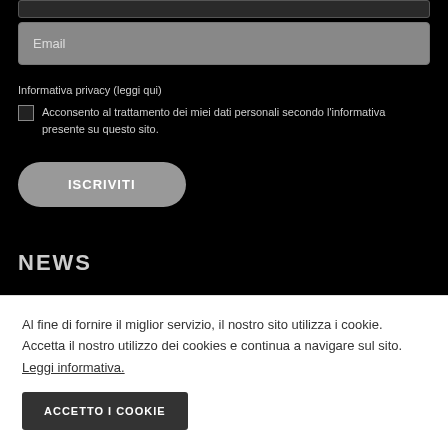[Figure (screenshot): Dark top bar UI element at top of page]
Email
Informativa privacy (leggi qui)
Acconsento al trattamento dei miei dati personali secondo l'informativa presente su questo sito.
ISCRIVITI
NEWS
Al fine di fornire il miglior servizio, il nostro sito utilizza i cookie. Accetta il nostro utilizzo dei cookies e continua a navigare sul sito. Leggi informativa.
ACCETTO I COOKIE